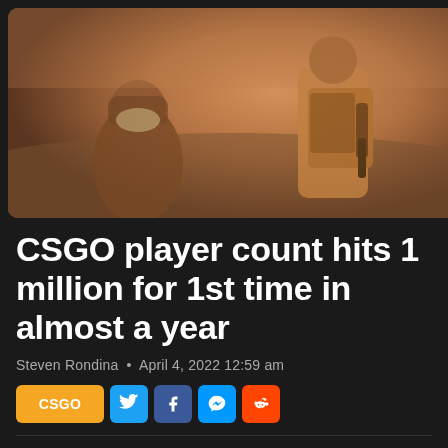[Figure (photo): Video game screenshot showing two armed characters in a warm orange-tinted outdoor environment, likely from Counter-Strike: Global Offensive]
CSGO player count hits 1 million for 1st time in almost a year
Steven Rondina • April 4, 2022 12:59 am
CSGO [social share buttons: Twitter, Facebook, Messenger, Reddit]
Counter-Strike: Global Offensive is enjoying a